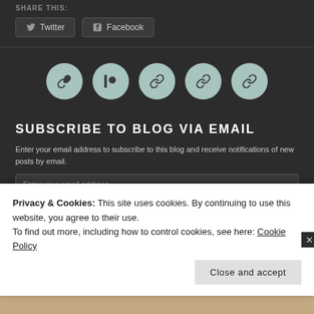SHARE THIS:
Twitter  Facebook
[Figure (infographic): Five circular icon buttons with mint/teal background arranged horizontally: link icon, Patreon icon, link icon, link icon, link icon]
SUBSCRIBE TO BLOG VIA EMAIL
Enter your email address to subscribe to this blog and receive notifications of new posts by email.
Enter your email address
Privacy & Cookies: This site uses cookies. By continuing to use this website, you agree to their use.
To find out more, including how to control cookies, see here: Cookie Policy
Close and accept